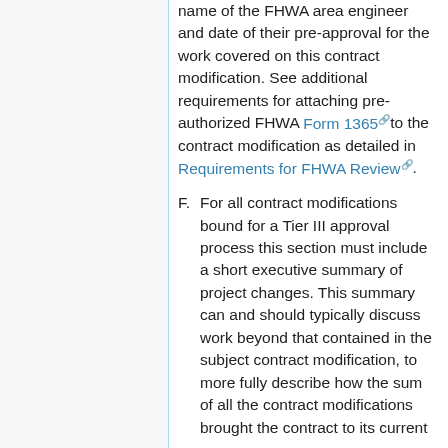name of the FHWA area engineer and date of their pre-approval for the work covered on this contract modification. See additional requirements for attaching pre-authorized FHWA Form 1365 to the contract modification as detailed in Requirements for FHWA Review.
F. For all contract modifications bound for a Tier III approval process this section must include a short executive summary of project changes. This summary can and should typically discuss work beyond that contained in the subject contract modification, to more fully describe how the sum of all the contract modifications brought the contract to its current